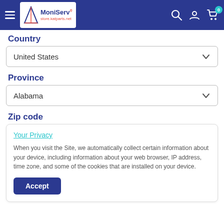MoniServ - store.katparts.net navigation bar with hamburger menu, logo, search, account, and cart icons (badge: 0)
Country
United States
Province
Alabama
Zip code
Your Privacy
When you visit the Site, we automatically collect certain information about your device, including information about your web browser, IP address, time zone, and some of the cookies that are installed on your device.
Accept